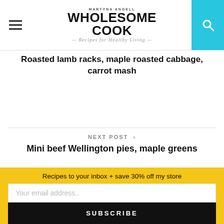MARTYNA ANGELL | WHOLESOME COOK — Recipes for Healthy Living
Roasted lamb racks, maple roasted cabbage, carrot mash
NEXT POST > Mini beef Wellington pies, maple greens
[Figure (photo): Circular author photo of a woman cooking in a kitchen]
Recipes to your inbox + save 30% off my store
Your email address..
SUBSCRIBE